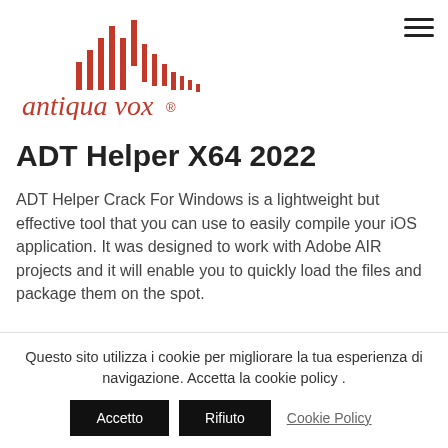[Figure (logo): Antiqua Vox logo: red vertical bar/waveform graphic above italic red text 'antiqua vox ®']
ADT Helper X64 2022
ADT Helper Crack For Windows is a lightweight but effective tool that you can use to easily compile your iOS application. It was designed to work with Adobe AIR projects and it will enable you to quickly load the files and package them on the spot.
Questo sito utilizza i cookie per migliorare la tua esperienza di navigazione. Accetta la cookie policy .
Accetto | Rifiuto | Cookie Policy